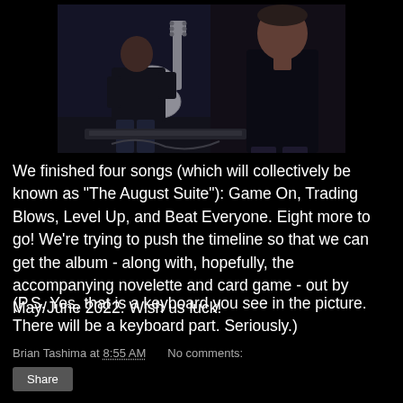[Figure (photo): Photo of musicians in a dark setting; one person holds a white electric guitar, another person is visible on the right side of the frame]
We finished four songs (which will collectively be known as "The August Suite"): Game On, Trading Blows, Level Up, and Beat Everyone. Eight more to go! We're trying to push the timeline so that we can get the album - along with, hopefully, the accompanying novelette and card game - out by May/June 2022. Wish us luck!
(P.S. Yes, that is a keyboard you see in the picture. There will be a keyboard part. Seriously.)
Brian Tashima at 8:55 AM   No comments: